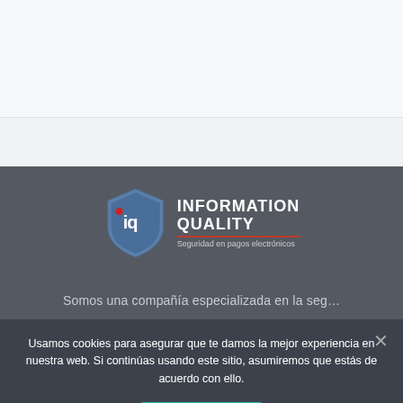[Figure (logo): Information Quality shield logo with text 'INFORMATION QUALITY' and tagline 'Seguridad en pagos electrónicos' in header]
[Figure (infographic): Dark gray hamburger menu button (three horizontal lines) in top-right corner]
[Figure (logo): Information Quality shield logo centered in dark section with text 'INFORMATION QUALITY' and tagline 'Seguridad en pagos electrónicos']
Somos una compañía especializada en la seg…
Usamos cookies para asegurar que te damos la mejor experiencia en nuestra web. Si continúas usando este sitio, asumiremos que estás de acuerdo con ello.
Aceptar